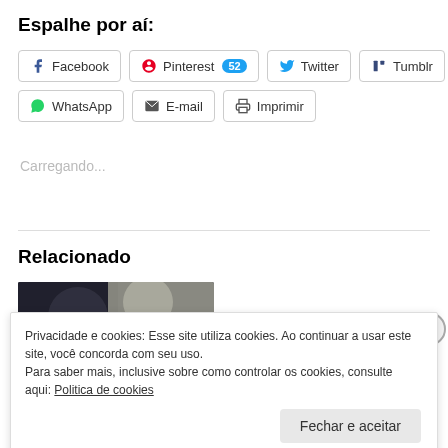Espalhe por aí:
Facebook | Pinterest 52 | Twitter | Tumblr
WhatsApp | E-mail | Imprimir
Carregando...
Relacionado
[Figure (photo): Photo of dark knitted fabric]
Privacidade e cookies: Esse site utiliza cookies. Ao continuar a usar este site, você concorda com seu uso.
Para saber mais, inclusive sobre como controlar os cookies, consulte aqui: Politica de cookies
Fechar e aceitar